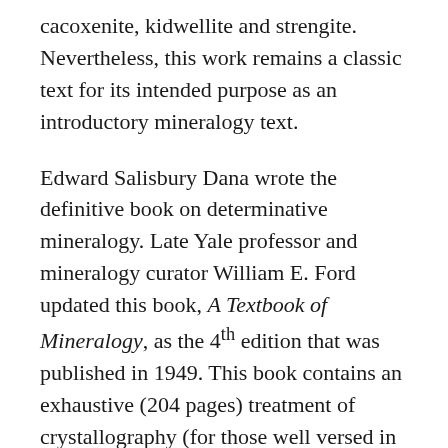cacoxenite, kidwellite and strengite. Nevertheless, this work remains a classic text for its intended purpose as an introductory mineralogy text.
Edward Salisbury Dana wrote the definitive book on determinative mineralogy. Late Yale professor and mineralogy curator William E. Ford updated this book, A Textbook of Mineralogy, as the 4th edition that was published in 1949. This book contains an exhaustive (204 pages) treatment of crystallography (for those well versed in trigonometry and analytical geometry). There are also excellent sections on physical and chemical testing, including blowpipe analysis of an unknown mineral. There are numerous tables to aide in the identification of unknowns using groupings of principle physical